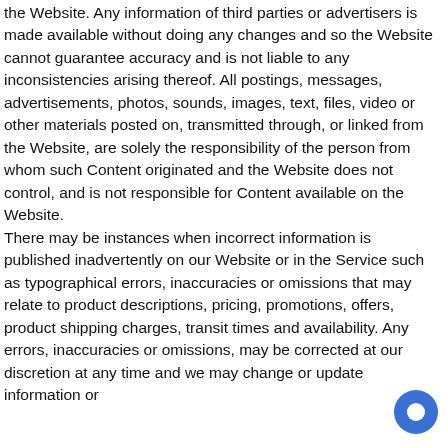the Website. Any information of third parties or advertisers is made available without doing any changes and so the Website cannot guarantee accuracy and is not liable to any inconsistencies arising thereof. All postings, messages, advertisements, photos, sounds, images, text, files, video or other materials posted on, transmitted through, or linked from the Website, are solely the responsibility of the person from whom such Content originated and the Website does not control, and is not responsible for Content available on the Website.
There may be instances when incorrect information is published inadvertently on our Website or in the Service such as typographical errors, inaccuracies or omissions that may relate to product descriptions, pricing, promotions, offers, product shipping charges, transit times and availability. Any errors, inaccuracies or omissions, may be corrected at our discretion at any time and we may change or update information or